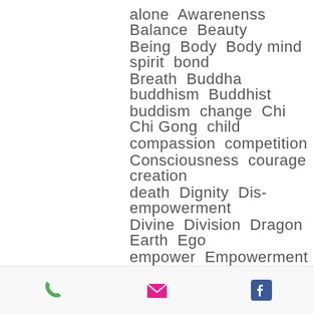alone  Awarenenss  Balance  Beauty  Being  Body  Body mind spirit  bond  Breath  Buddha  buddhism  Buddhist  buddism  change  Chi  Chi Gong  child  compassion  competition  Consciousness  courage  creation  death  Dignity  Dis-empowerment  Divine  Division  Dragon  Earth  Ego  empower  Empowerment  Empowerment body  energy  Enlightenment  Essence  Expansion  Father  Father Sun  fear  Fight  Flow  Focus  forgive  Free will  Frequency  Fu
Phone | Email | Facebook